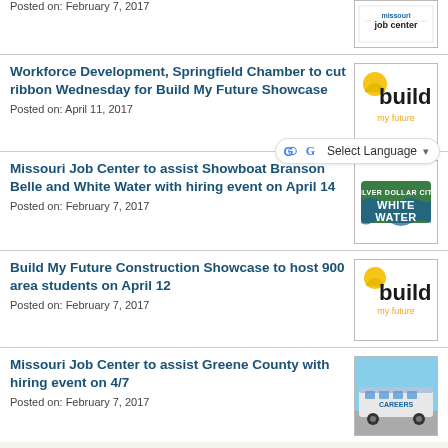Posted on: February 7, 2017
[Figure (logo): Missouri Job Center logo]
Workforce Development, Springfield Chamber to cut ribbon Wednesday for Build My Future Showcase
Posted on: April 11, 2017
[Figure (logo): Build My Future logo]
Missouri Job Center to assist Showboat Branson Belle and White Water with hiring event on April 14
Posted on: February 7, 2017
[Figure (logo): White Water Branson logo]
Build My Future Construction Showcase to host 900 area students on April 12
Posted on: February 7, 2017
[Figure (logo): Build My Future logo]
Missouri Job Center to assist Greene County with hiring event on 4/7
Posted on: February 7, 2017
[Figure (photo): Photo of a bus/van for Greene County hiring event]